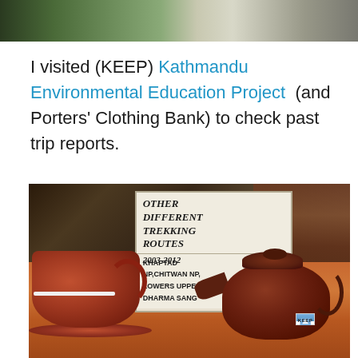[Figure (photo): Top portion of outdoor photo showing stone path or rocky terrain with green foliage]
I visited (KEEP) Kathmandu Environmental Education Project (and Porters' Clothing Bank) to check past trip reports.
[Figure (photo): Photo of a KEEP trekking routes sign board showing 'OTHER DIFFERENT TREKKING ROUTES 2003-2012' and listing KHAPTAD NP, CHITWAN NP, LOWERS UPPER DOLPU, DHARMA SANG, with clay tea cups and KEEP branded teapot in the foreground on a wooden table]